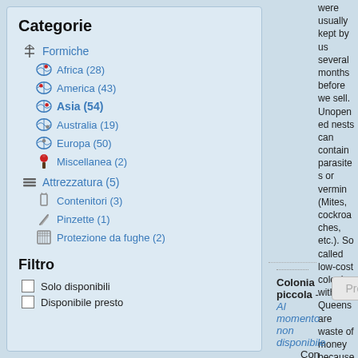Categorie
Formiche
Africa (28)
America (43)
Asia (54)
Australia (19)
Europa (50)
Miscellanea (2)
Attrezzatura (5)
Contenitori (3)
Pinzette (1)
Protezione da fughe (2)
Filtro
Solo disponibili
Disponibile presto
were usually kept by us several months before we sell. Unopened nests can contain parasites or vermin (Mites, cockroaches, etc.). So called low-cost colonies without Queens are waste of money because you don't take pleasure in very long.
Colonia piccola - Al momento non disponibile
Con 150-200
Prenotare